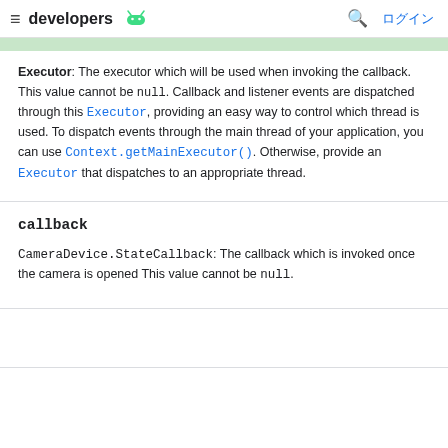≡ developers [android logo]   🔍 ログイン
Executor: The executor which will be used when invoking the callback. This value cannot be null. Callback and listener events are dispatched through this Executor, providing an easy way to control which thread is used. To dispatch events through the main thread of your application, you can use Context.getMainExecutor(). Otherwise, provide an Executor that dispatches to an appropriate thread.
callback
CameraDevice.StateCallback: The callback which is invoked once the camera is opened This value cannot be null.